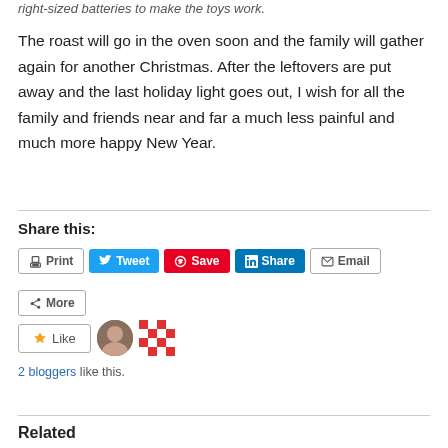right-sized batteries to make the toys work.
The roast will go in the oven soon and the family will gather again for another Christmas. After the leftovers are put away and the last holiday light goes out, I wish for all the family and friends near and far a much less painful and much more happy New Year.
Share this:
Print  Tweet  Save  Share  Email  More
Like  2 bloggers like this.
Related